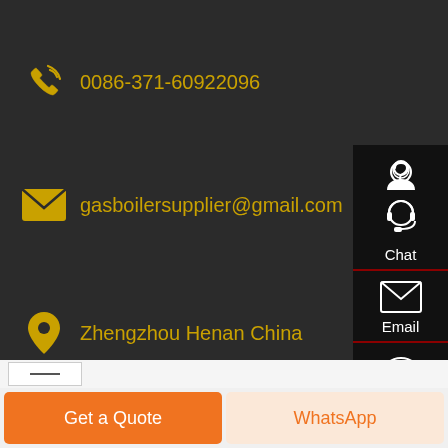0086-371-60922096
gasboilersupplier@gmail.com
Zhengzhou Henan China
Chat
Email
Contact
Get a Quote
WhatsApp